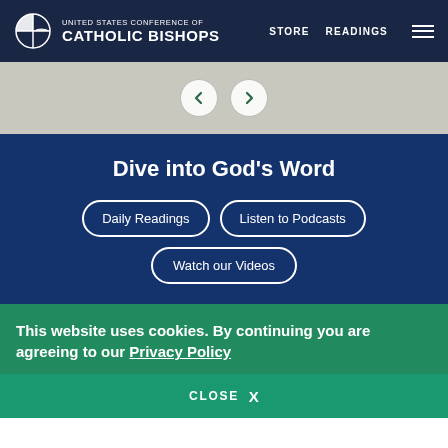UNITED STATES CONFERENCE OF CATHOLIC BISHOPS — STORE   READINGS
[Figure (screenshot): Slider navigation area with left and right arrow buttons on a gray background]
Dive into God's Word
Daily Readings
Listen to Podcasts
Watch our Videos
This website uses cookies. By continuing you are agreeing to our Privacy Policy
CLOSE  X